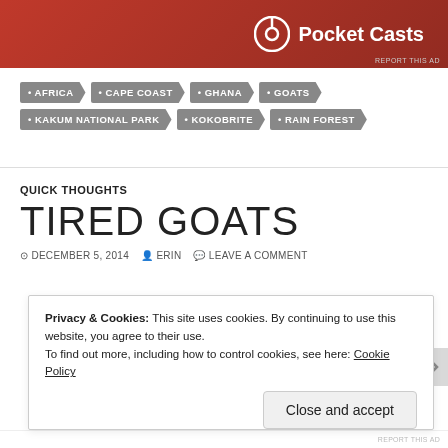[Figure (logo): Pocket Casts advertisement banner with red background and white Pocket Casts logo]
AFRICA
CAPE COAST
GHANA
GOATS
KAKUM NATIONAL PARK
KOKOBRITE
RAIN FOREST
QUICK THOUGHTS
TIRED GOATS
DECEMBER 5, 2014  ERIN  LEAVE A COMMENT
Privacy & Cookies: This site uses cookies. By continuing to use this website, you agree to their use.
To find out more, including how to control cookies, see here: Cookie Policy
Close and accept